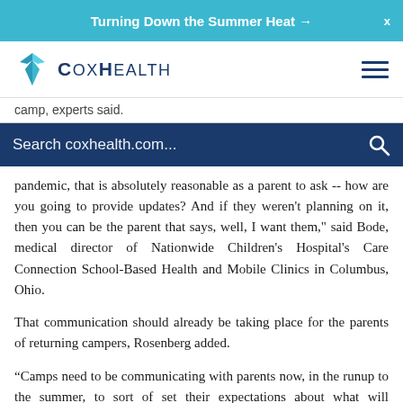Turning Down the Summer Heat →
[Figure (logo): CoxHealth logo with blue star/diamond shapes and text 'CoxHealth']
camp, experts said.
Search coxhealth.com...
pandemic, that is absolutely reasonable as a parent to ask -- how are you going to provide updates? And if they weren't planning on it, then you can be the parent that says, well, I want them," said Bode, medical director of Nationwide Children's Hospital's Care Connection School-Based Health and Mobile Clinics in Columbus, Ohio.
That communication should already be taking place for the parents of returning campers, Rosenberg added.
“Camps need to be communicating with parents now, in the runup to the summer, to sort of set their expectations about what will prescreening look like, what will we be asking of you in the summer of ’21 that we didn’t before,” Rosenberg said.